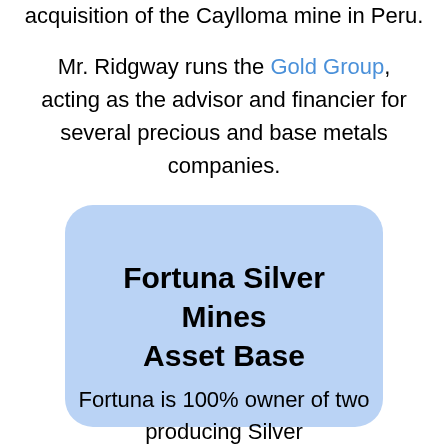acquisition of the Caylloma mine in Peru.
Mr. Ridgway runs the Gold Group, acting as the advisor and financier for several precious and base metals companies.
[Figure (infographic): Light blue rounded rectangle containing the title 'Fortuna Silver Mines Asset Base' in large bold text]
Fortuna is 100% owner of two producing Silver